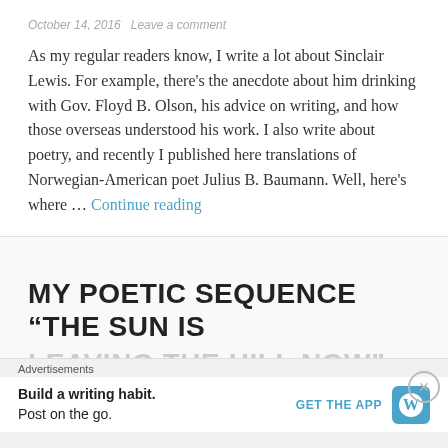October 14, 2016   Leave a comment
As my regular readers know, I write a lot about Sinclair Lewis. For example, there's the anecdote about him drinking with Gov. Floyd B. Olson, his advice on writing, and how those overseas understood his work. I also write about poetry, and recently I published here translations of Norwegian-American poet Julius B. Baumann. Well, here's where … Continue reading
MY POETIC SEQUENCE “THE SUN IS
LEAVING THE HILL NOW” IN LITERARY
Advertisements
Build a writing habit. Post on the go.
GET THE APP